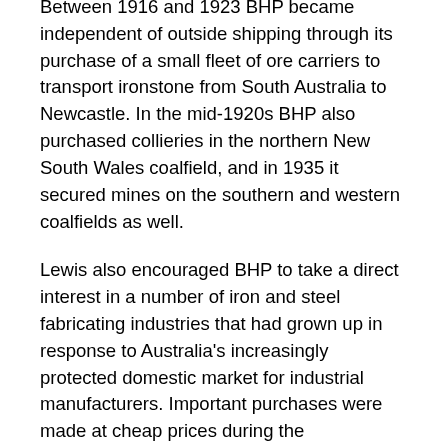Between 1916 and 1923 BHP became independent of outside shipping through its purchase of a small fleet of ore carriers to transport ironstone from South Australia to Newcastle. In the mid-1920s BHP also purchased collieries in the northern New South Wales coalfield, and in 1935 it secured mines on the southern and western coalfields as well.
Lewis also encouraged BHP to take a direct interest in a number of iron and steel fabricating industries that had grown up in response to Australia's increasingly protected domestic market for industrial manufacturers. Important purchases were made at cheap prices during the Depression. Where outright control was not possible or desirable, Lewis encouraged co-operation through joint share ownership with important British and American steel manufacturers in specialized areas of steel